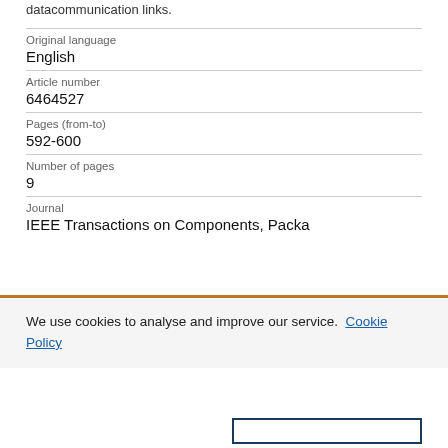datacommunication links.
| Original language | English |
| Article number | 6464527 |
| Pages (from-to) | 592-600 |
| Number of pages | 9 |
| Journal | IEEE Transactions on Components, Packa |
We use cookies to analyse and improve our service. Cookie Policy